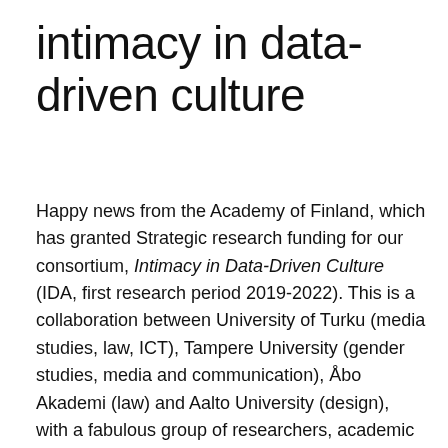intimacy in data-driven culture
Happy news from the Academy of Finland, which has granted Strategic research funding for our consortium, Intimacy in Data-Driven Culture (IDA, first research period 2019-2022). This is a collaboration between University of Turku (media studies, law, ICT), Tampere University (gender studies, media and communication), Åbo Akademi (law) and Aalto University (design), with a fabulous group of researchers, academic and societal board members, and collaborative stakeholders. As PI, I'm very excited. Here's the summary: